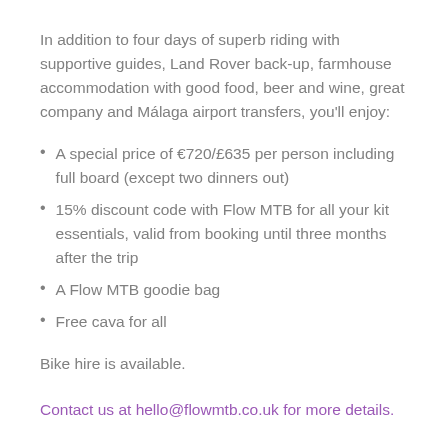In addition to four days of superb riding with supportive guides, Land Rover back-up, farmhouse accommodation with good food, beer and wine, great company and Málaga airport transfers, you'll enjoy:
A special price of €720/£635 per person including full board (except two dinners out)
15% discount code with Flow MTB for all your kit essentials, valid from booking until three months after the trip
A Flow MTB goodie bag
Free cava for all
Bike hire is available.
Contact us at hello@flowmtb.co.uk for more details.